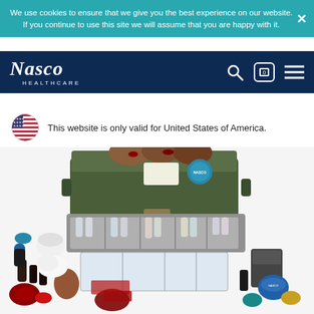We use cookies to ensure that we give you the best experience on our website. If you continue to use this site we will assume that you are happy with it.
[Figure (logo): Nasco Healthcare logo in white on dark navy background]
This website is only valid for United States of America.
[Figure (photo): Medical simulation kit in a green military-style toolbox with compartments containing wound simulators, prosthetics, bottles of simulated blood and other moulage supplies, red trauma pieces, and bandage materials spread out.]